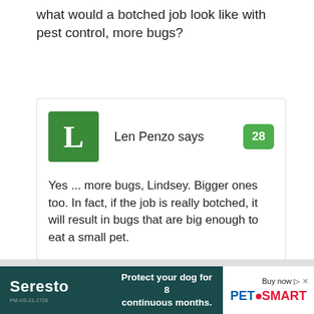what would a botched job look like with pest control, more bugs?
Len Penzo says
28

Yes ... more bugs, Lindsey. Bigger ones too. In fact, if the job is really botched, it will result in bugs that are big enough to eat a small pet.
[Figure (infographic): Seresto advertisement banner: dark teal background with Seresto logo on left, 'Protect your dog for 8 continuous months.' text in center, and PetSmart Buy now button on the right.]